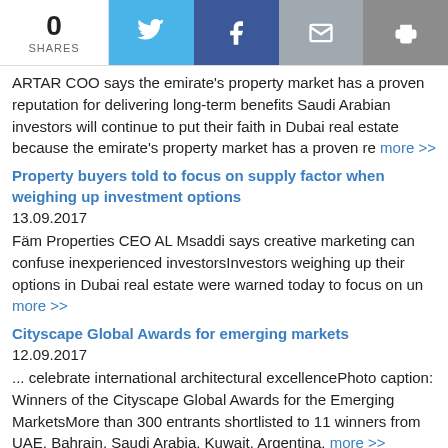[Figure (infographic): Social sharing bar with 0 shares, Twitter, Facebook, email, and print buttons]
ARTAR COO says the emirate's property market has a proven reputation for delivering long-term benefits Saudi Arabian investors will continue to put their faith in Dubai real estate because the emirate's property market has a proven re more >>
Property buyers told to focus on supply factor when weighing up investment options
13.09.2017
Fäm Properties CEO AL Msaddi says creative marketing can confuse inexperienced investorsInvestors weighing up their options in Dubai real estate were warned today to focus on un more >>
Cityscape Global Awards for emerging markets
12.09.2017
... celebrate international architectural excellencePhoto caption: Winners of the Cityscape Global Awards for the Emerging MarketsMore than 300 entrants shortlisted to 11 winners from UAE, Bahrain, Saudi Arabia, Kuwait, Argentina, more >>
Dubai property market changing face
12.09.2017
Building surge highlights changing face of investment in Dubai real estate - Al MsaddiFäm Properties CEO spotlights market shift at Cityscape Global as plot owners take development route, land advisory set to boom, speculators fade more >>